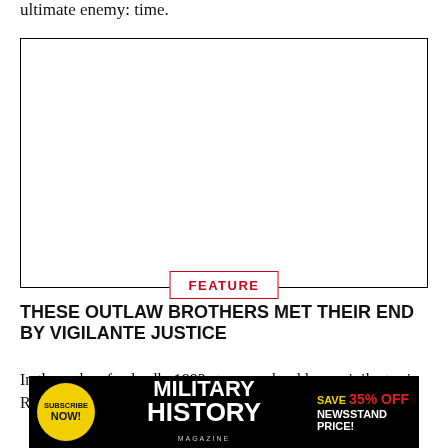ultimate enemy: time.
[Figure (other): Large blank image placeholder with border]
FEATURE
THESE OUTLAW BROTHERS MET THEIR END BY VIGILANTE JUSTICE
In the wake of a deadly 1892 stagecoach robbery, vigilantes in Redding, California, took
[Figure (other): Military History Magazine advertisement banner. Subscribe Now! Save 35% Off Newsstand Price!]